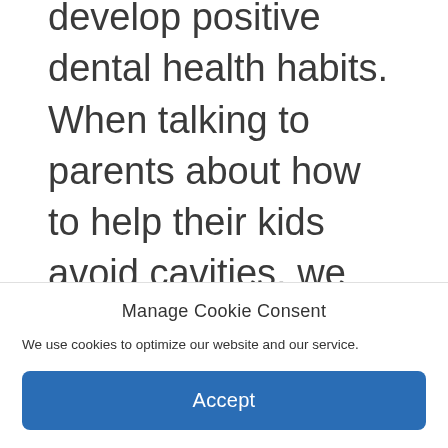develop positive dental health habits. When talking to parents about how to help their kids avoid cavities, we recommend 10 ways to prevent cavities and avoid tooth decay:
Manage Cookie Consent
We use cookies to optimize our website and our service.
Accept